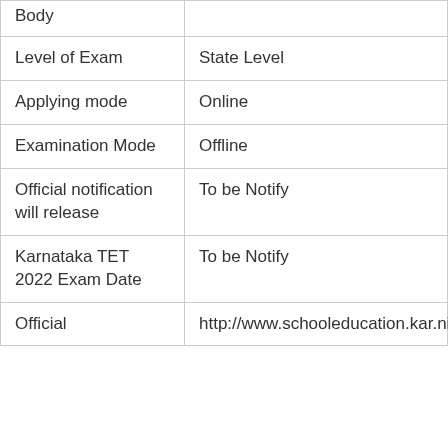| Field | Value |
| --- | --- |
| Body |  |
| Level of Exam | State Level |
| Applying mode | Online |
| Examination Mode | Offline |
| Official notification will release | To be Notify |
| Karnataka TET 2022 Exam Date | To be Notify |
| Official | http://www.schooleducation.kar.nic.i |